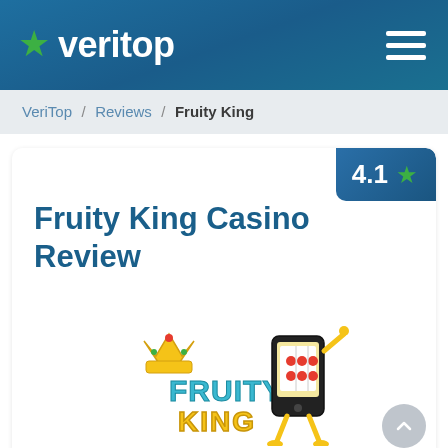★ veritop
VeriTop / Reviews / Fruity King
Fruity King Casino Review
[Figure (logo): Fruity King casino logo: colorful text 'FRUITY KING' with a crown and an animated slot machine phone character]
4.1 ★